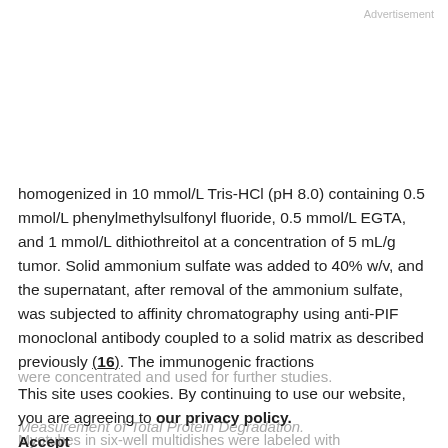Advertisement
homogenized in 10 mmol/L Tris-HCl (pH 8.0) containing 0.5 mmol/L phenylmethylsulfonyl fluoride, 0.5 mmol/L EGTA, and 1 mmol/L dithiothreitol at a concentration of 5 mL/g tumor. Solid ammonium sulfate was added to 40% w/v, and the supernatant, after removal of the ammonium sulfate, was subjected to affinity chromatography using anti-PIF monoclonal antibody coupled to a solid matrix as described previously (16). The immunogenic fractions
were concentrated and used for further studies.
This site uses cookies. By continuing to use our website, you are agreeing to our privacy policy. Accept
Measurement of Total Protein Degradation.
Myotubes in six-well multidishes were labeled with